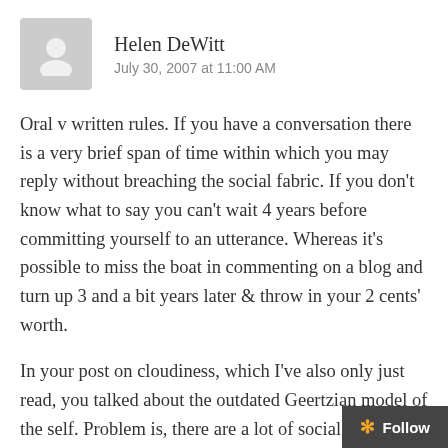Helen DeWitt
July 30, 2007 at 11:00 AM
Oral v written rules. If you have a conversation there is a very brief span of time within which you may reply without breaching the social fabric. If you don't know what to say you can't wait 4 years before committing yourself to an utterance. Whereas it's possible to miss the boat in commenting on a blog and turn up 3 and a bit years later & throw in your 2 cents' worth.
In your post on cloudiness, which I've also only just read, you talked about the outdated Geertzian model of the self. Problem is, there are a lot of social rules that require one to act as if one had a Geertzian self. If one comes into contact with the police, with a psychiatric institution, one is required to put on a successful performance of a Geertzian s